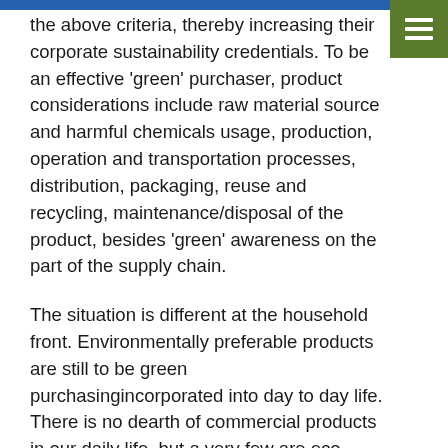the above criteria, thereby increasing their corporate sustainability credentials. To be an effective 'green' purchaser, product considerations include raw material source and harmful chemicals usage, production, operation and transportation processes, distribution, packaging, reuse and recycling, maintenance/disposal of the product, besides 'green' awareness on the part of the supply chain.
The situation is different at the household front. Environmentally preferable products are still to be green purchasingincorporated into day to day life. There is no dearth of commercial products in our daily life, but a very few are eco-friendly products in a true sense. Consumer products like organic food, clothing, stationary, furniture, cosmetics, cleaning chemicals, carpets and electrical appliances are some of our